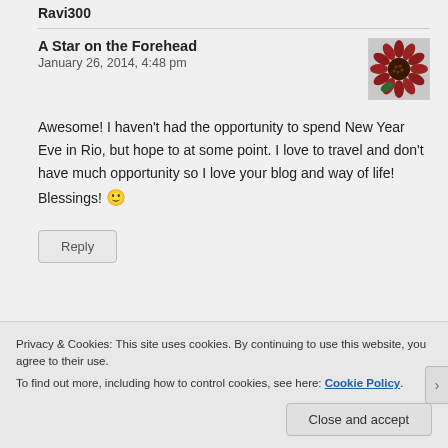Ravi300
A Star on the Forehead
January 26, 2014, 4:48 pm
[Figure (photo): Avatar thumbnail showing a red sunflower]
Awesome! I haven't had the opportunity to spend New Year Eve in Rio, but hope to at some point. I love to travel and don't have much opportunity so I love your blog and way of life! Blessings! 🙂
Reply
Privacy & Cookies: This site uses cookies. By continuing to use this website, you agree to their use.
To find out more, including how to control cookies, see here: Cookie Policy